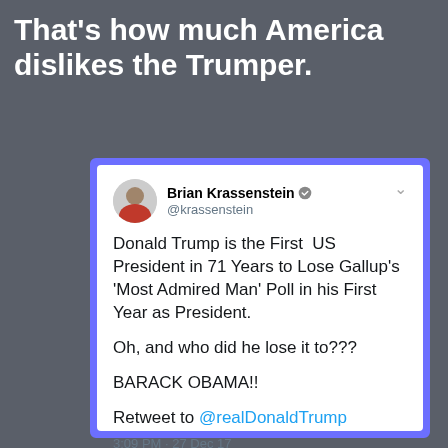That's how much America dislikes the Trumper.
[Figure (screenshot): Screenshot of a tweet by Brian Krassenstein (@krassenstein) reading: 'Donald Trump is the First US President in 71 Years to Lose Gallup's 'Most Admired Man' Poll in his First Year as President. Oh, and who did he lose it to??? BARACK OBAMA!! Retweet to @realDonaldTrump' — posted at 3:09 PM · 27 Dec 17]